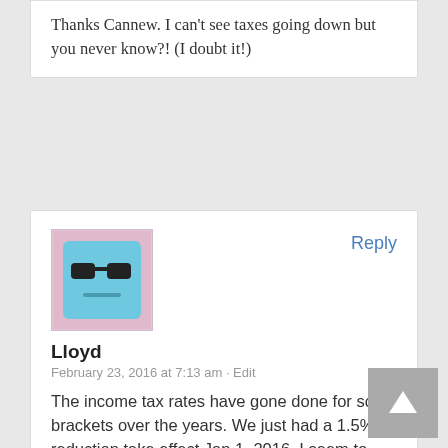Thanks Cannew. I can't see taxes going down but you never know?! (I doubt it!)
[Figure (illustration): Avatar image: a cartoon blue square face wearing dark sunglasses with a neutral expression, on a pinkish background]
Reply
Lloyd
February 23, 2016 at 7:13 am · Edit
The income tax rates have gone done for some brackets over the years. We just had a 1.5% reduction take effect Jan 1, 2016. I seem to remember some brackets were higher in the 90's as well? Theoretically, couldn't a person make a substantial contribution for the 2015 tax...